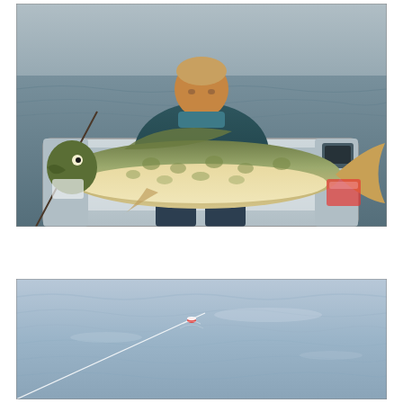[Figure (photo): A man sitting in a fishing boat on a lake or large body of water, holding a very large northern pike fish with both hands. The man wears a dark teal/grey jacket. The fish is large and spans nearly the full width of the boat. Fishing equipment and electronics visible on the boat.]
[Figure (photo): Close-up view of calm water surface with ripples and a fishing line visible cutting diagonally through the frame, with a small red and white float/bobber visible near the line. Light blue-grey water with gentle wave patterns.]